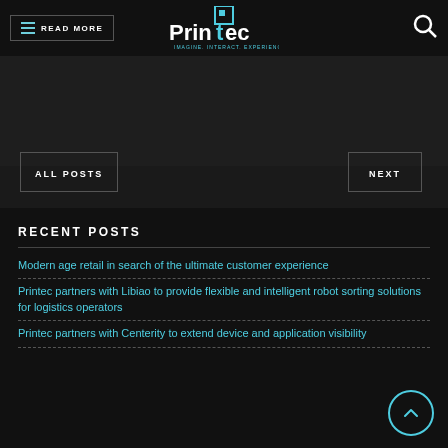READ MORE | Printec – Imagine. Interact. Experience.
window of the sport's chain store ...
ALL POSTS
NEXT
RECENT POSTS
Modern age retail in search of the ultimate customer experience
Printec partners with Libiao to provide flexible and intelligent robot sorting solutions for logistics operators
Printec partners with Centerity to extend device and application visibility